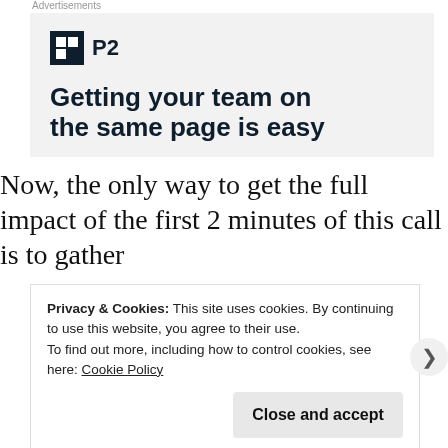Advertisements
[Figure (other): Advertisement banner for P2. Shows P2 logo icon (dark square with grid pattern) and bold headline text: 'Getting your team on the same page is easy']
Now, the only way to get the full impact of the first 2 minutes of this call is to gather
Privacy & Cookies: This site uses cookies. By continuing to use this website, you agree to their use.
To find out more, including how to control cookies, see here: Cookie Policy
Close and accept